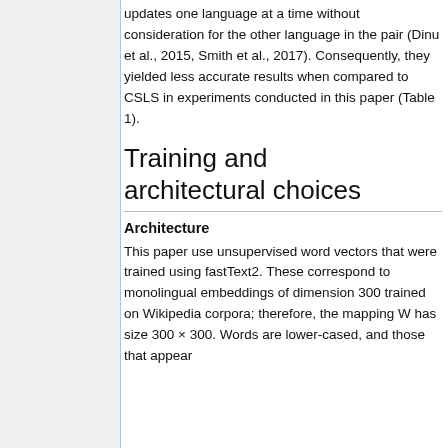updates one language at a time without consideration for the other language in the pair (Dinu et al., 2015, Smith et al., 2017). Consequently, they yielded less accurate results when compared to CSLS in experiments conducted in this paper (Table 1).
Training and architectural choices
Architecture
This paper use unsupervised word vectors that were trained using fastText2. These correspond to monolingual embeddings of dimension 300 trained on Wikipedia corpora; therefore, the mapping W has size 300 × 300. Words are lower-cased, and those that appear